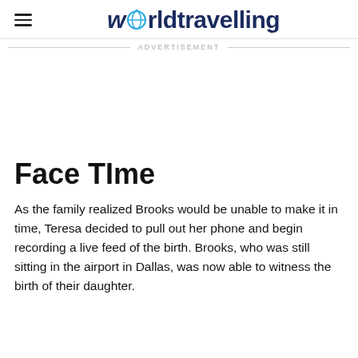worldtravelling
ADVERTISEMENT
Face TIme
As the family realized Brooks would be unable to make it in time, Teresa decided to pull out her phone and begin recording a live feed of the birth. Brooks, who was still sitting in the airport in Dallas, was now able to witness the birth of their daughter.